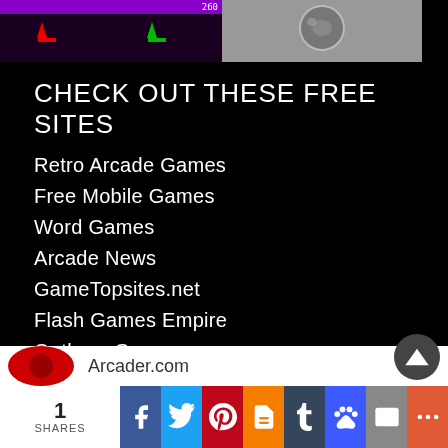[Figure (screenshot): Two game screenshots at the top: left shows a dark space invaders-style game with purple bar and colored sprites; right shows a grayscale game screenshot with a spherical object.]
CHECK OUT THESE FREE SITES
Retro Arcade Games
Free Mobile Games
Word Games
Arcade News
GameTopsites.net
Flash Games Empire
Outlaws Gameroom
Free Videos
Free Jokes
Asteroids
Free Blackjack
Gala…
1 SHARES | Facebook | Twitter | Pinterest | Blogger | Tumblr | Paw | Email | More | Arcader.com